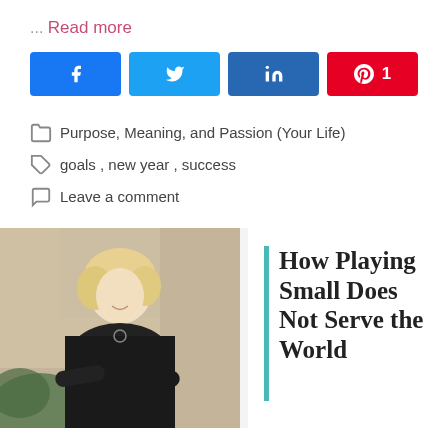… Read more
[Figure (other): Social share buttons: Facebook, Twitter, LinkedIn, Pinterest with count 1]
Purpose, Meaning, and Passion (Your Life)
goals , new year , success
Leave a comment
[Figure (photo): A blonde woman in a black top sitting with arms crossed, smiling, in a lifestyle/office setting]
How Playing Small Does Not Serve the World